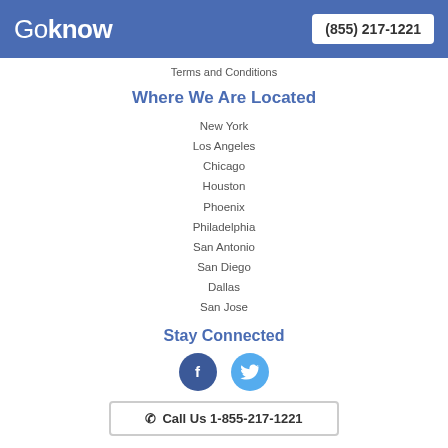Goknow  (855) 217-1221
Terms and Conditions
Where We Are Located
New York
Los Angeles
Chicago
Houston
Phoenix
Philadelphia
San Antonio
San Diego
Dallas
San Jose
Stay Connected
[Figure (illustration): Facebook and Twitter social media icon circles]
Call Us 1-855-217-1221